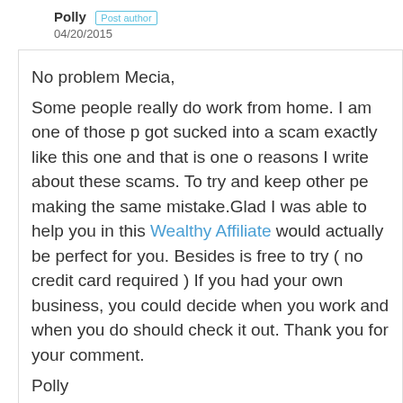Polly  Post author
04/20/2015
No problem Mecia,
Some people really do work from home. I am one of those p got sucked into a scam exactly like this one and that is one o reasons I write about these scams. To try and keep other pe making the same mistake.Glad I was able to help you in this Wealthy Affiliate would actually be perfect for you. Besides is free to try ( no credit card required ) If you had your own business, you could decide when you work and when you do should check it out. Thank you for your comment.
Polly
LTMMO
Reply ↓